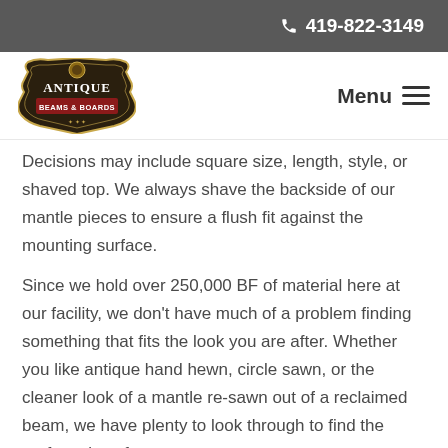📞 419-822-3149
[Figure (logo): Antique Beams & Boards logo — ornate badge shape with dark background and gold/red text]
Menu ≡
Decisions may include square size, length, style, or shaved top. We always shave the backside of our mantle pieces to ensure a flush fit against the mounting surface.
Since we hold over 250,000 BF of material here at our facility, we don't have much of a problem finding something that fits the look you are after. Whether you like antique hand hewn, circle sawn, or the cleaner look of a mantle re-sawn out of a reclaimed beam, we have plenty to look through to find the perfect piece for